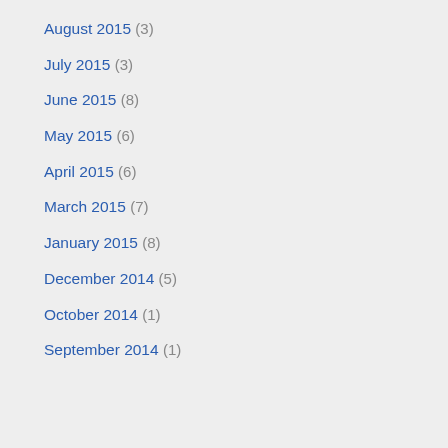August 2015 (3)
July 2015 (3)
June 2015 (8)
May 2015 (6)
April 2015 (6)
March 2015 (7)
January 2015 (8)
December 2014 (5)
October 2014 (1)
September 2014 (1)